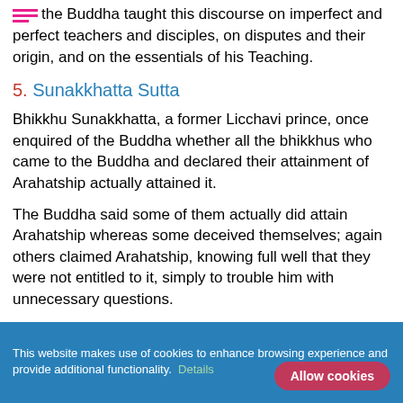the Buddha taught this discourse on imperfect and perfect teachers and disciples, on disputes and their origin, and on the essentials of his Teaching.
5. Sunakkhatta Sutta
Bhikkhu Sunakkhatta, a former Licchavi prince, once enquired of the Buddha whether all the bhikkhus who came to the Buddha and declared their attainment of Arahatship actually attained it.
The Buddha said some of them actually did attain Arahatship whereas some deceived themselves; again others claimed Arahatship, knowing full well that they were not entitled to it, simply to trouble him with unnecessary questions.
This website makes use of cookies to enhance browsing experience and provide additional functionality. Details Allow cookies